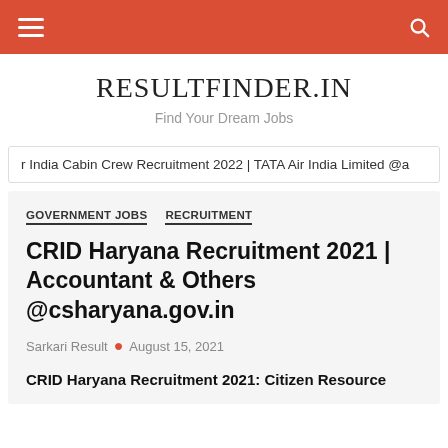RESULTFINDER.IN navigation bar with menu and search
RESULTFINDER.IN
Find Your Dream Jobs
r India Cabin Crew Recruitment 2022 | TATA Air India Limited @a
GOVERNMENT JOBS   RECRUITMENT
CRID Haryana Recruitment 2021 | Accountant & Others @csharyana.gov.in
Sarkari Result • August 15, 2021
CRID Haryana Recruitment 2021: Citizen Resource